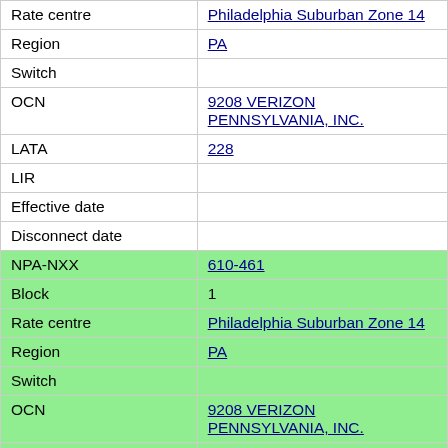| Field | Value |
| --- | --- |
| Rate centre | Philadelphia Suburban Zone 14 |
| Region | PA |
| Switch |  |
| OCN | 9208 VERIZON PENNSYLVANIA, INC. |
| LATA | 228 |
| LIR |  |
| Effective date |  |
| Disconnect date |  |
| NPA-NXX | 610-461 |
| Block | 1 |
| Rate centre | Philadelphia Suburban Zone 14 |
| Region | PA |
| Switch |  |
| OCN | 9208 VERIZON PENNSYLVANIA, INC. |
| LATA | 228 |
| LIR |  |
| Effective date |  |
| Disconnect date |  |
| NPA-NXX | 610-461 |
| Block | 2 |